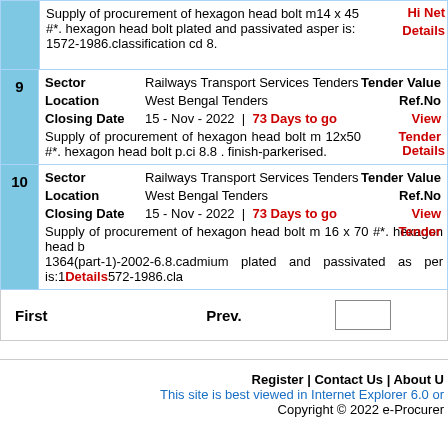Supply of procurement of hexagon head bolt m14 x 45 #*. hexagon head bolt plated and passivated asper is: 1572-1986.classification cd 8. | Hi Net | Details
| 9 | Sector | Railways Transport Services Tenders | Tender Value |
|  | Location | West Bengal Tenders | Ref.No |
|  | Closing Date | 15 - Nov - 2022  |  73 Days to go | View Tender |
|  | Supply of procurement of hexagon head bolt m 12x50 #*. hexagon head bolt p.ci 8.8 . finish-parkerised. |  | Details |
| 10 | Sector | Railways Transport Services Tenders | Tender Value |
|  | Location | West Bengal Tenders | Ref.No |
|  | Closing Date | 15 - Nov - 2022  |  73 Days to go | View Tender |
|  | Supply of procurement of hexagon head bolt m 16 x 70 #*. hexagon head bolt 1364(part-1)-2002-6.8.cadmium plated and passivated as per is:1572-1986.cla |  | Details |
First   Prev.   [input box]
Register | Contact Us | About U
This site is best viewed in Internet Explorer 6.0 or
Copyright © 2022 e-Procurer